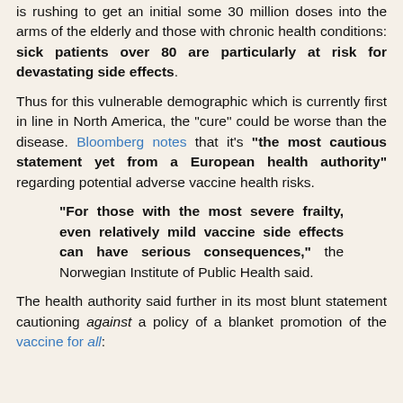is rushing to get an initial some 30 million doses into the arms of the elderly and those with chronic health conditions: sick patients over 80 are particularly at risk for devastating side effects.
Thus for this vulnerable demographic which is currently first in line in North America, the "cure" could be worse than the disease. Bloomberg notes that it's "the most cautious statement yet from a European health authority" regarding potential adverse vaccine health risks.
"For those with the most severe frailty, even relatively mild vaccine side effects can have serious consequences," the Norwegian Institute of Public Health said.
The health authority said further in its most blunt statement cautioning against a policy of a blanket promotion of the vaccine for all: